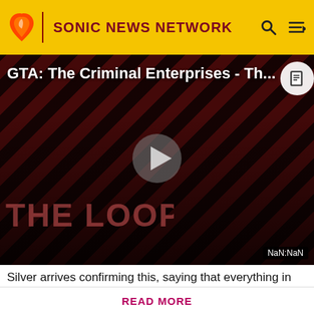SONIC NEWS NETWORK
[Figure (screenshot): Video thumbnail for 'GTA: The Criminal Enterprises - Th...' showing characters from The Loop on a dark diagonal striped background. A play button is visible in the center. NaN:NaN timestamp shown at bottom right.]
Silver arrives confirming this, saying that everything in his
Know something we don't about Sonic? Don't hesitate in signing up today! It's fast, free, and easy, and you will get a
READ MORE